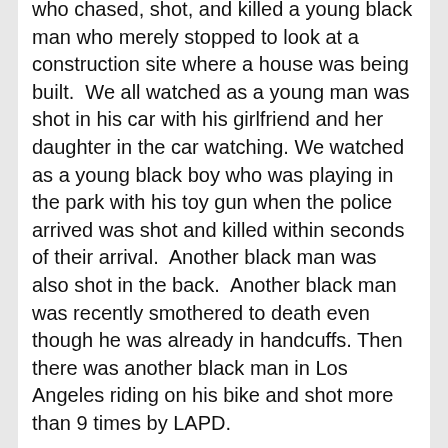who chased, shot, and killed a young black man who merely stopped to look at a construction site where a house was being built.  We all watched as a young man was shot in his car with his girlfriend and her daughter in the car watching. We watched as a young black boy who was playing in the park with his toy gun when the police arrived was shot and killed within seconds of their arrival.  Another black man was also shot in the back.  Another black man was recently smothered to death even though he was already in handcuffs. Then there was another black man in Los Angeles riding on his bike and shot more than 9 times by LAPD.
We all see the results of the Pandemic with the coronavirus killing close to 180,000